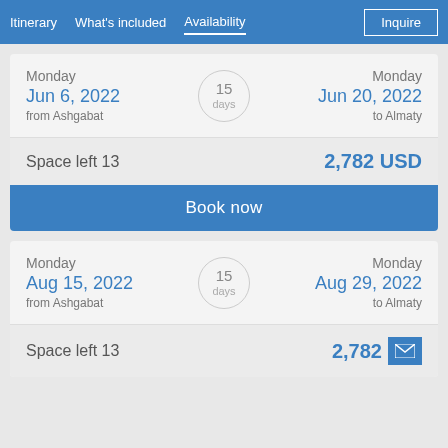Itinerary | What's included | Availability | Inquire
Monday
Jun 6, 2022
from Ashgabat
15 days
Monday
Jun 20, 2022
to Almaty
Space left 13
2,782 USD
Book now
Monday
Aug 15, 2022
from Ashgabat
15 days
Monday
Aug 29, 2022
to Almaty
Space left 13
2,782